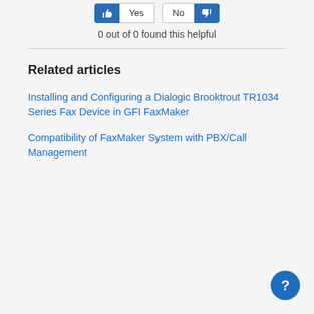[Figure (screenshot): Top UI buttons: Yes (thumbs up, blue) with 'Yes' text box, then 'No' text box and thumbs down (blue) button]
0 out of 0 found this helpful
Related articles
Installing and Configuring a Dialogic Brooktrout TR1034 Series Fax Device in GFI FaxMaker
Compatibility of FaxMaker System with PBX/Call Management